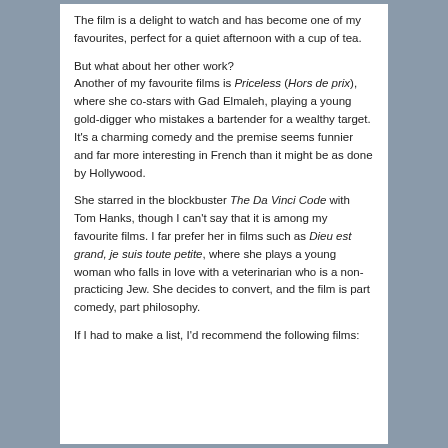The film is a delight to watch and has become one of my favourites, perfect for a quiet afternoon with a cup of tea.
But what about her other work?
Another of my favourite films is Priceless (Hors de prix), where she co-stars with Gad Elmaleh, playing a young gold-digger who mistakes a bartender for a wealthy target. It's a charming comedy and the premise seems funnier and far more interesting in French than it might be as done by Hollywood.
She starred in the blockbuster The Da Vinci Code with Tom Hanks, though I can't say that it is among my favourite films. I far prefer her in films such as Dieu est grand, je suis toute petite, where she plays a young woman who falls in love with a veterinarian who is a non-practicing Jew. She decides to convert, and the film is part comedy, part philosophy.
If I had to make a list, I'd recommend the following films: